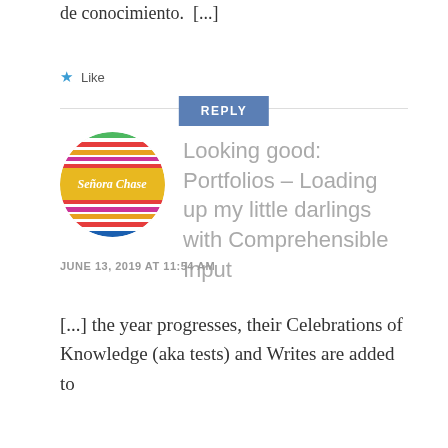de conocimiento.  [...]
Like
REPLY
[Figure (logo): Circular avatar logo for Señora Chase blog, with colorful striped serape blanket pattern and yellow band with italic text 'Señora Chase']
Looking good: Portfolios – Loading up my little darlings with Comprehensible Input
JUNE 13, 2019 AT 11:54 AM
[...] the year progresses, their Celebrations of Knowledge (aka tests) and Writes are added to